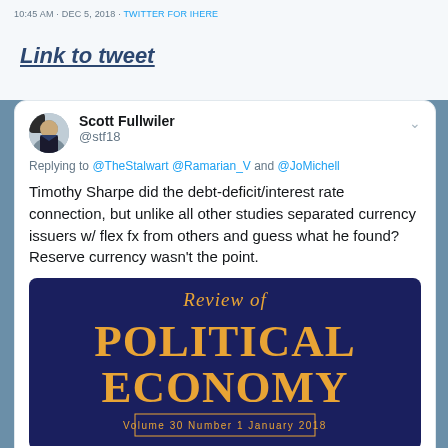10:45 AM · DEC 5, 2018 · TWITTER FOR IHERE
Link to tweet
Scott Fullwiler @stf18
Replying to @TheStalwart @Ramarian_V and @JoMichell
Timothy Sharpe did the debt-deficit/interest rate connection, but unlike all other studies separated currency issuers w/ flex fx from others and guess what he found? Reserve currency wasn't the point.
[Figure (other): Cover image of 'Review of Political Economy' journal, Volume 30, Number 1, January 2018. Dark navy background with large orange serif text reading 'Review of POLITICAL ECONOMY'. A rectangular border box contains 'Volume 30  Number 1  January 2018' in orange text.]
A Modern Money Perspective on Financial Crowding-out (2013). A Modern Money Perspective on Financial Crowding-out. Review of Political Economy: Vol. 25, No. 4, pp. 586-606.